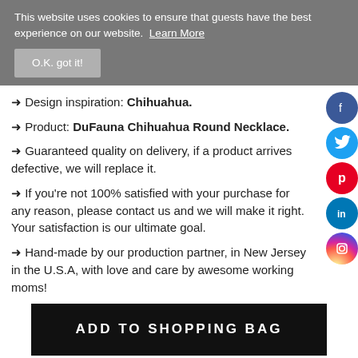This website uses cookies to ensure that guests have the best experience on our website. Learn More
O.K. got it!
→ Design inspiration: Chihuahua.
→ Product: DuFauna Chihuahua Round Necklace.
→ Guaranteed quality on delivery, if a product arrives defective, we will replace it.
→ If you're not 100% satisfied with your purchase for any reason, please contact us and we will make it right. Your satisfaction is our ultimate goal.
→ Hand-made by our production partner, in New Jersey in the U.S.A, with love and care by awesome working moms!
ADD TO SHOPPING BAG